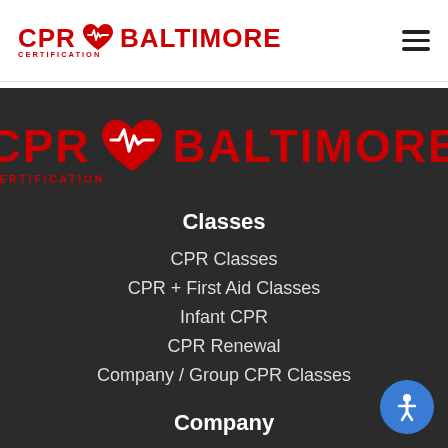CPR ♥ BALTIMORE CERTIFICATION
[Figure (logo): CPR Baltimore Certification logo with red heart and pulse line, large version on dark background]
Classes
CPR Classes
CPR + First Aid Classes
Infant CPR
CPR Renewal
Company / Group CPR Classes
Company
About Us